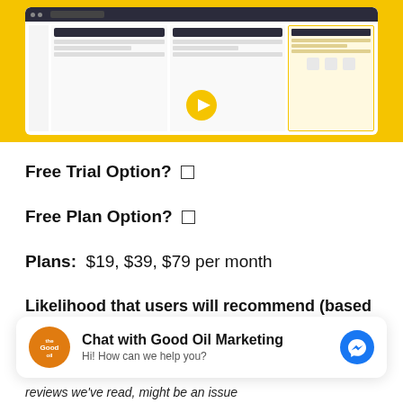[Figure (screenshot): Screenshot of a software dashboard interface on yellow background with play button overlay]
Free Trial Option?  □
Free Plan Option?  □
Plans:  $19, $39, $79 per month
Likelihood that users will recommend (based on various internet sources): 9
[Figure (screenshot): Chat widget: Chat with Good Oil Marketing. Hi! How can we help you?]
reviews we've read, might be an issue